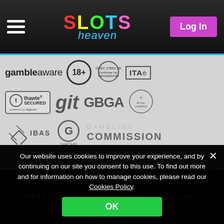[Figure (logo): Slots Heaven website header with hamburger menu, neon-style SLOTS heaven logo, and Log In button]
[Figure (infographic): Certification and compliance logos: GambleAware, 18+, ISO/IEC 27001:2013 certificate, ITAG, Thawte Secured by DigiCert, git, GBGA, UK crest, IBAS, GamCare, Gambling Commission]
[Figure (infographic): Payment method logos: Visa Debit, Visa, eco, NETELLER, paysafecard]
Our website uses cookies to improve your experience, and by continuing on our site you consent to this use. To find out more and for information on how to manage cookies, please read our Cookies Policy.
[Figure (other): OK button to accept cookies (green button)]